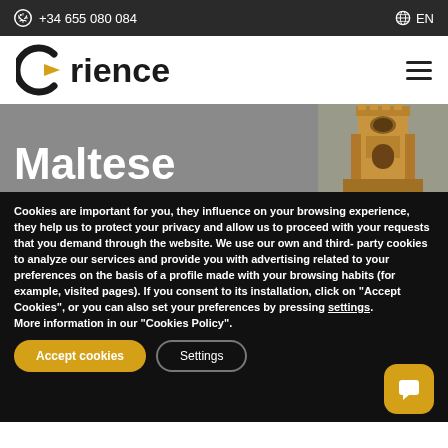+34 655 080 084   EN
[Figure (logo): Orience logo with arrow and circular element]
Maltese
Cookies are important for you, they influence on your browsing experience, they help us to protect your privacy and allow us to proceed with your requests that you demand through the website. We use our own and third- party cookies to analyze our services and provide you with advertising related to your preferences on the basis of a profile made with your browsing habits (for example, visited pages). If you consent to its installation, click on "Accept Cookies", or you can also set your preferences by pressing settings.
More information in our "Cookies Policy".